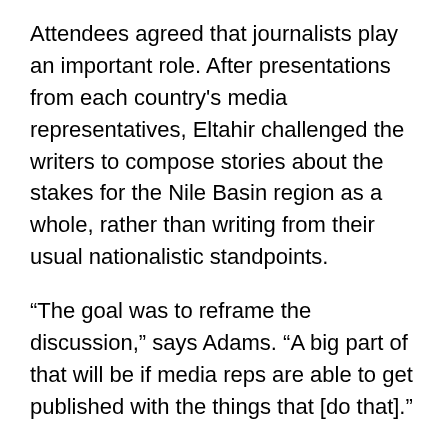Attendees agreed that journalists play an important role. After presentations from each country's media representatives, Eltahir challenged the writers to compose stories about the stakes for the Nile Basin region as a whole, rather than writing from their usual nationalistic standpoints.
“The goal was to reframe the discussion,” says Adams. “A big part of that will be if media reps are able to get published with the things that [do that].”
Despite some disagreements, attendees appreciated the opportunity to consider fresh ideas and insights.
“New water is good for everyone, so let’s start there,” said Yosif Ibrahim, former senior water planner at the Eastern Nile Regional Office (ENTRO), originally from